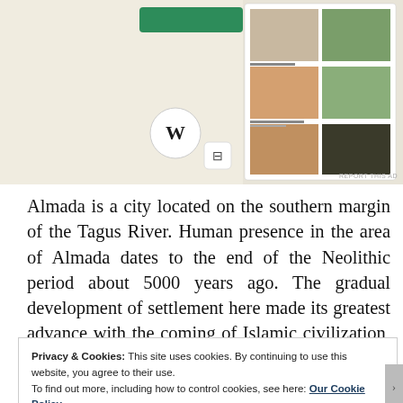[Figure (screenshot): Advertisement image showing a WordPress logo on a beige background on the left, and a food/recipe magazine mockup layout on the right with photos of dishes]
Almada is a city located on the southern margin of the Tagus River. Human presence in the area of Almada dates to the end of the Neolithic period about 5000 years ago. The gradual development of settlement here made its greatest advance with the coming of Islamic civilization, when Muslims constructed a fort at Almada to defend and monitor the entrance to
Privacy & Cookies: This site uses cookies. By continuing to use this website, you agree to their use.
To find out more, including how to control cookies, see here: Our Cookie Policy
Close and accept